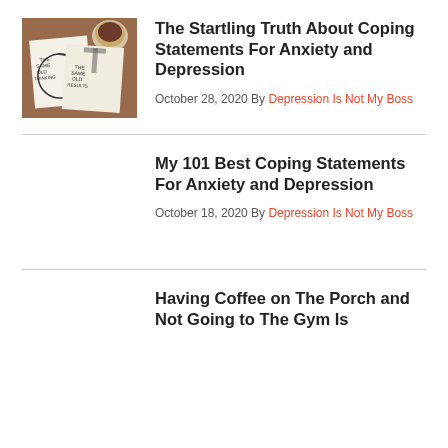[Figure (photo): Photo of paper napkins on a wooden table with coffee cup. Napkins have hand-drawn text reading 'THE SAME OLD THINKING' and 'THE SAME OLD RESULTS' with a circular arrow diagram.]
The Startling Truth About Coping Statements For Anxiety and Depression
October 28, 2020 By Depression Is Not My Boss
My 101 Best Coping Statements For Anxiety and Depression
October 18, 2020 By Depression Is Not My Boss
Having Coffee on The Porch and Not Going to The Gym Is